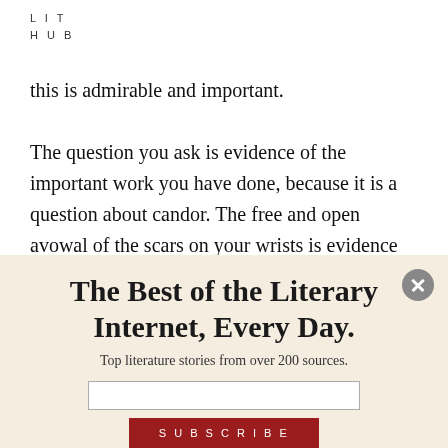LIT HUB
this is admirable and important.

The question you ask is evidence of the important work you have done, because it is a question about candor. The free and open avowal of the scars on your wrists is evidence of candor, and acceptance, and these are the only
The Best of the Literary Internet, Every Day.
Top literature stories from over 200 sources.
SUBSCRIBE